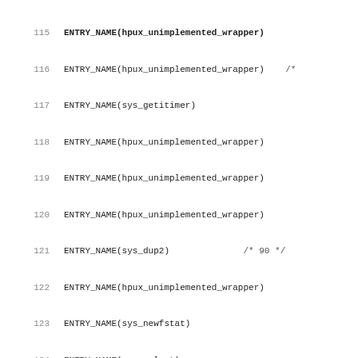Code listing showing ENTRY_NAME assembly/C macro entries for system calls, lines 115-147, including hpux_unimplemented_wrapper and specific syscall entries like sys_getitimer, sys_dup2, sys_newfstat, sys_select, sys_gettimeofday.